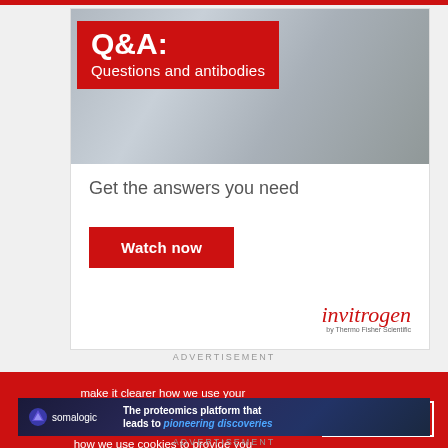[Figure (illustration): Advertisement banner for Invitrogen Q&A showing lab corridor background with red overlay containing Q&A: Questions and antibodies title, Get the answers you need subtitle, Watch now button, and Invitrogen by Thermo Fisher Scientific logo]
ADVERTISEMENT
make it clearer how we use your personal data.
Please read our Cookie Policy to learn how we use cookies to provide you
I UNDERSTAND
[Figure (illustration): Somalogic advertisement banner: The proteomics platform that leads to pioneering discoveries]
ADVERTISEMENT